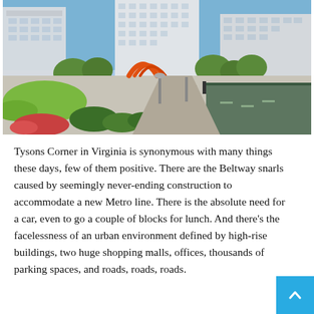[Figure (photo): Architectural rendering of Tysons Corner urban redevelopment: pedestrian plaza with trees, outdoor café seating, an orange sculptural arch, people walking, and tall glass office/hotel buildings in the background]
Tysons Corner in Virginia is synonymous with many things these days, few of them positive. There are the Beltway snarls caused by seemingly never-ending construction to accommodate a new Metro line. There is the absolute need for a car, even to go a couple of blocks for lunch. And there's the facelessness of an urban environment defined by high-rise buildings, two huge shopping malls, offices, thousands of parking spaces, and roads, roads, roads.